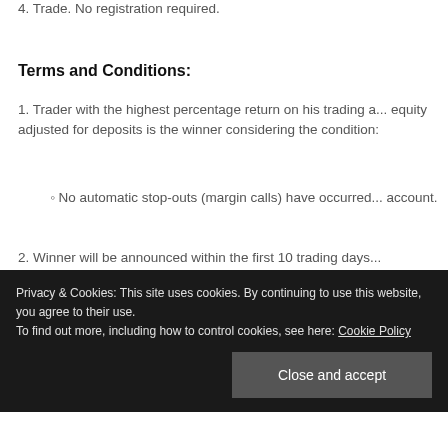4. Trade. No registration required.
Terms and Conditions:
1. Trader with the highest percentage return on his trading a... equity adjusted for deposits is the winner considering the condition:
No automatic stop-outs (margin calls) have occurred... account.
2. Winner will be announced within the first 10 trading days...
Privacy & Cookies: This site uses cookies. By continuing to use this website, you agree to their use. To find out more, including how to control cookies, see here: Cookie Policy
Close and accept